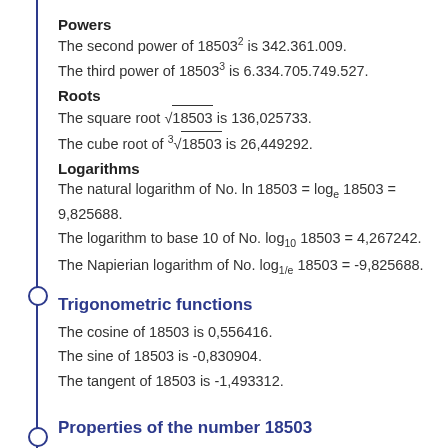Powers
The second power of 18503² is 342.361.009.
The third power of 18503³ is 6.334.705.749.527.
Roots
The square root √18503 is 136,025733.
The cube root of ³√18503 is 26,449292.
Logarithms
The natural logarithm of No. ln 18503 = logₑ 18503 = 9,825688.
The logarithm to base 10 of No. log₁₀ 18503 = 4,267242.
The Napierian logarithm of No. log₁/ₑ 18503 = -9,825688.
Trigonometric functions
The cosine of 18503 is 0,556416.
The sine of 18503 is -0,830904.
The tangent of 18503 is -1,493312.
Properties of the number 18503